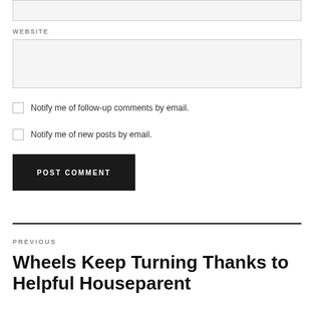WEBSITE
Notify me of follow-up comments by email.
Notify me of new posts by email.
POST COMMENT
PREVIOUS
Wheels Keep Turning Thanks to Helpful Houseparent